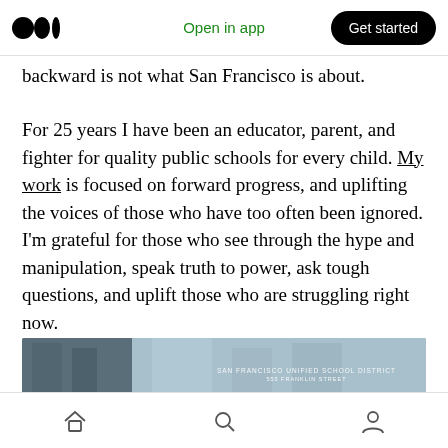Open in app | Get started
backward is not what San Francisco is about.
For 25 years I have been an educator, parent, and fighter for quality public schools for every child. My work is focused on forward progress, and uplifting the voices of those who have too often been ignored. I'm grateful for those who see through the hype and manipulation, speak truth to power, ask tough questions, and uplift those who are struggling right now.
[Figure (photo): A photo banner showing a building exterior with the text 'SAN FRANCISCO UNIFIED SCHOOL DISTRICT' and '555 FRANKLIN STREET']
Home | Search | Profile